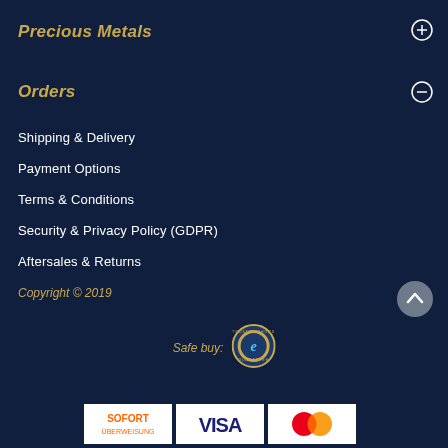Precious Metals
Orders
Shipping & Delivery
Payment Options
Terms & Conditions
Security & Privacy Policy (GDPR)
Aftersales & Returns
Copyright © 2019
[Figure (logo): Trusted Shops Guarantee seal - circular badge with letter e]
Safe buy:
[Figure (logo): SOFORT Überweisung payment logo]
[Figure (logo): VISA payment logo]
[Figure (logo): Mastercard payment logo]